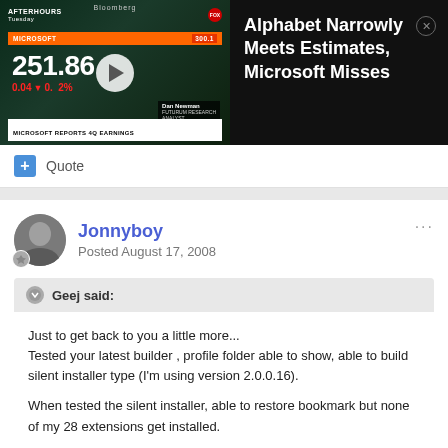[Figure (screenshot): Bloomberg video thumbnail showing Microsoft after-hours stock price 251.86, change -0.04 down 0.02%, with anchor Dan Newman. Text overlay: MICROSOFT REPORTS 4Q EARNINGS]
Alphabet Narrowly Meets Estimates, Microsoft Misses
+ Quote
Jonnyboy
Posted August 17, 2008
Geej said:
Just to get back to you a little more...
Tested your latest builder , profile folder able to show, able to build silent installer type (I'm using version 2.0.0.16).

When tested the silent installer, able to restore bookmark but none of my 28 extensions get installed.